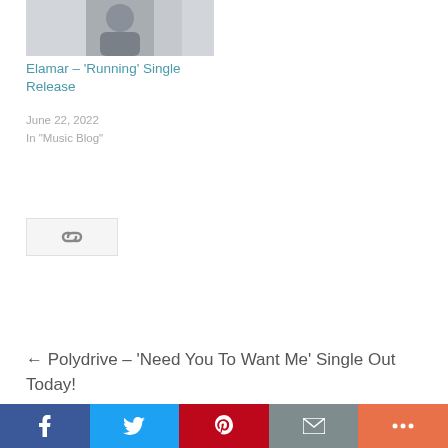[Figure (photo): Photo of a person sitting in a chair, cropped, dark clothing, white background]
Elamar – ‘Running’ Single Release
June 22, 2022
In "Music Blog"
[Figure (other): Link/chain icon in a light grey box]
← Polydrive – ‘Need You To Want Me’ Single Out Today!
[Figure (other): Social sharing bar with Facebook, Twitter, Pinterest, Email, and More buttons]